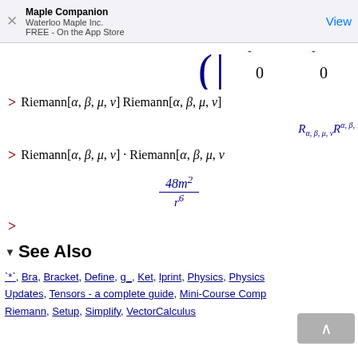Maple Companion – Waterloo Maple Inc. – FREE - On the App Store – View
[Figure (math-figure): Partial matrix display showing zeros in bottom row, large bracket visible]
>
▼ See Also
`*`, Bra, Bracket, Define, g_, Ket, lprint, Physics, Physics[Updates], Tensors - a complete guide, Mini-Course Comp[...], Riemann, Setup, Simplify, VectorCalculus